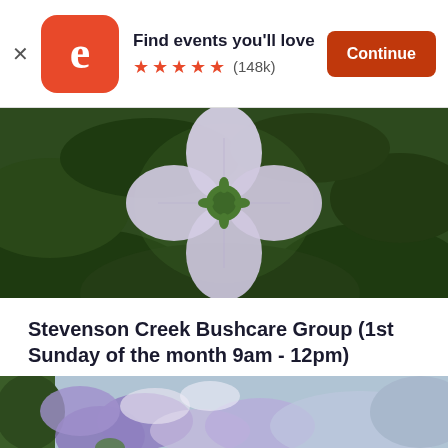Find events you'll love ★★★★★ (148k) Continue
[Figure (photo): Close-up photo of a pale purple/white flower with green foliage background]
Stevenson Creek Bushcare Group (1st Sunday of the month 9am - 12pm)
Sun, Sep 4, 9:00 AM
Stevenson Creek • Baulkham Hills, NSW
Free
[Figure (photo): Close-up photo of purple/lavender flowers at bottom of screen]